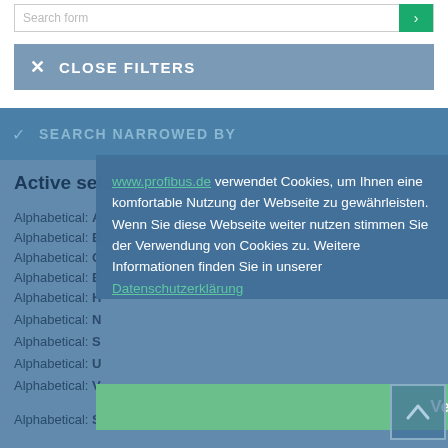Search form
CLOSE FILTERS
SEARCH NARROWED BY
Active selection
Alphabetical: A
Alphabetical: B
Alphabetical: C
Alphabetical: E
Alphabetical: H
Alphabetical: N
Alphabetical: S
Alphabetical: U
Alphabetical: V
www.profibus.de verwendet Cookies, um Ihnen eine komfortable Nutzung der Webseite zu gewährleisten. Wenn Sie diese Webseite weiter nutzen stimmen Sie der Verwendung von Cookies zu. Weitere Informationen finden Sie in unserer Datenschutzerklärung
Verstanden